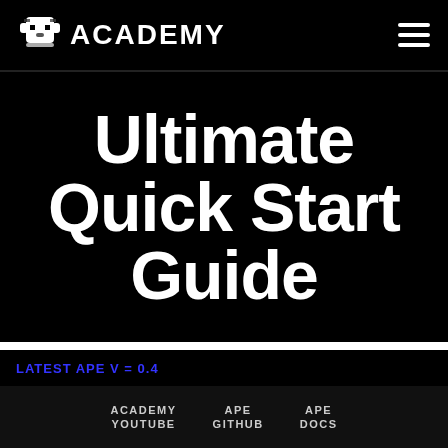ACADEMY
Ultimate Quick Start Guide
LATEST APE V = 0.4
ACADEMY YOUTUBE   APE GITHUB   APE DOCS